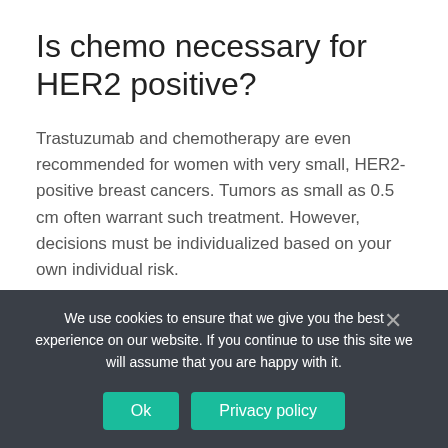Is chemo necessary for HER2 positive?
Trastuzumab and chemotherapy are even recommended for women with very small, HER2-positive breast cancers. Tumors as small as 0.5 cm often warrant such treatment. However, decisions must be individualized based on your own individual risk.
What is the function of HER2 neu?
We use cookies to ensure that we give you the best experience on our website. If you continue to use this site we will assume that you are happy with it.